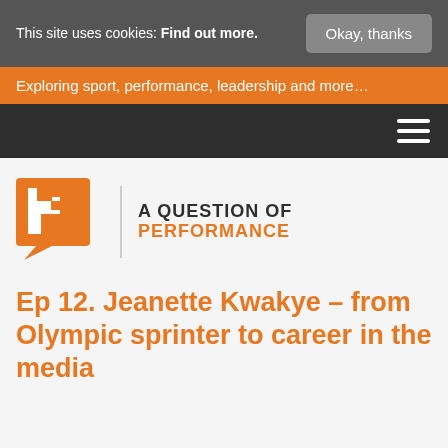This site uses cookies: Find out more.
Okay, thanks
Exploring sport, performance, leadership and more...
[Figure (logo): A Question of Performance logo with orange P icon and text]
Ep 12. Jeanette Kwakye – from Olympic sprinter to career in the media